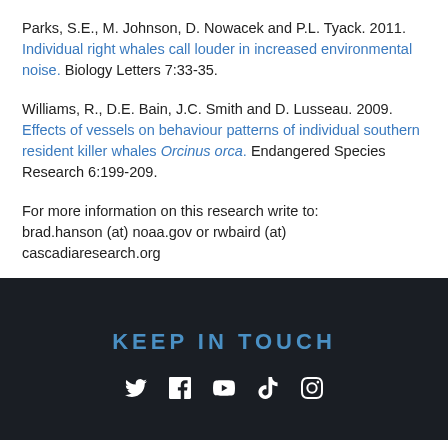Parks, S.E., M. Johnson, D. Nowacek and P.L. Tyack. 2011. Individual right whales call louder in increased environmental noise. Biology Letters 7:33-35.
Williams, R., D.E. Bain, J.C. Smith and D. Lusseau. 2009. Effects of vessels on behaviour patterns of individual southern resident killer whales Orcinus orca. Endangered Species Research 6:199-209.
For more information on this research write to: brad.hanson (at) noaa.gov or rwbaird (at) cascadiaresearch.org
KEEP IN TOUCH